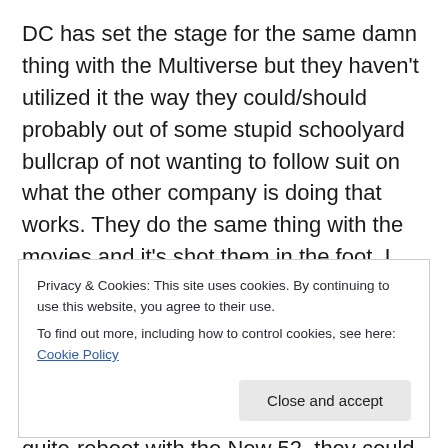DC has set the stage for the same damn thing with the Multiverse but they haven't utilized it the way they could/should probably out of some stupid schoolyard bullcrap of not wanting to follow suit on what the other company is doing that works. They do the same thing with the movies and it's shot them in the foot. I find all of this hilarious since both companies have been blatantly ripping off each other's character ideas since the beginning, but now when it matters, they refuse. Instead of doing a half-assed not-quite-reboot with the New 52, they could have trimmed off 4-5 of the 15 Bat books, books that aren't
Privacy & Cookies: This site uses cookies. By continuing to use this website, you agree to their use.
To find out more, including how to control cookies, see here: Cookie Policy